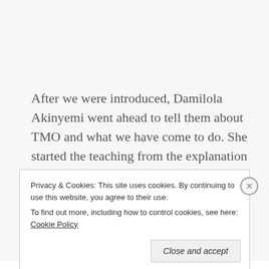After we were introduced, Damilola Akinyemi went ahead to tell them about TMO and what we have come to do. She started the teaching from the explanation of what prayer is all about, the meaning and characteristics of teen age, what teens should do
Privacy & Cookies: This site uses cookies. By continuing to use this website, you agree to their use.
To find out more, including how to control cookies, see here: Cookie Policy
Close and accept